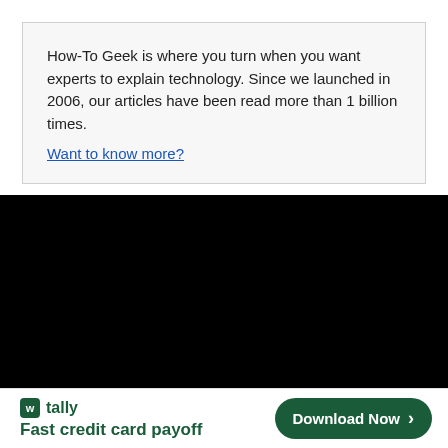How-To Geek is where you turn when you want experts to explain technology. Since we launched in 2006, our articles have been read more than 1 billion times. Want to know more?
[Figure (other): Black rectangle representing a video or media embed area]
[Figure (other): Advertisement banner for Tally app - Fast credit card payoff with Download Now button]